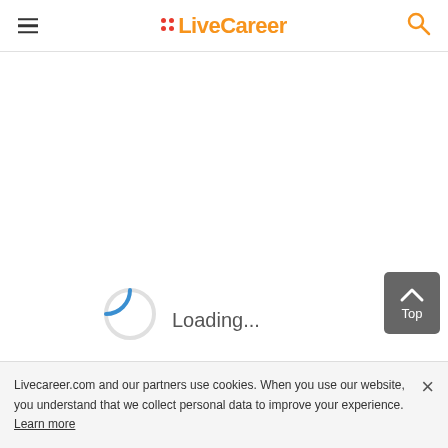LiveCareer
[Figure (other): Loading spinner - partial circle arc in blue indicating content is loading]
Loading...
Livecareer.com and our partners use cookies. When you use our website, you understand that we collect personal data to improve your experience. Learn more